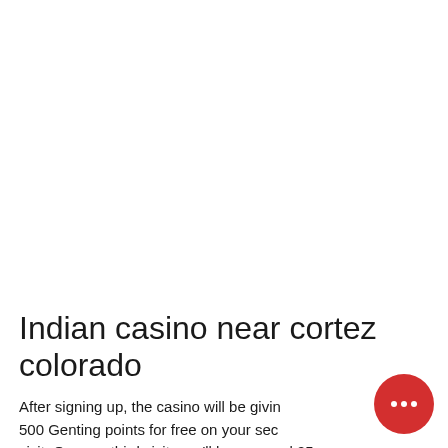Indian casino near cortez colorado
After signing up, the casino will be giving you 500 Genting points for free on your second visit. On your third visit, you'll have a cool 25